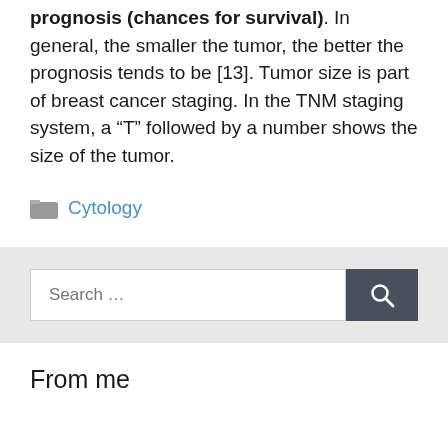prognosis (chances for survival). In general, the smaller the tumor, the better the prognosis tends to be [13]. Tumor size is part of breast cancer staging. In the TNM staging system, a “T” followed by a number shows the size of the tumor.
Cytology
Search ...
From me